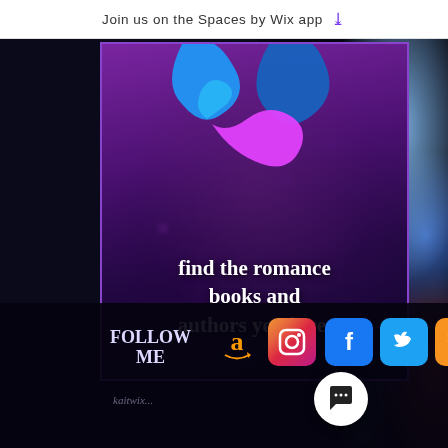Join us on the Spaces by Wix app ↓
[Figure (illustration): A promotional graphic with a dark purple rose background and the Wix app logo (blue and pink ribbon/X shape) at the top, with white text reading 'find the romance books and authors you love.' The right side of the image has colorful bokeh blur effects in blue, cyan, and red.]
find the romance books and authors you love.
FOLLOW ME
[Figure (logo): Amazon logo]
[Figure (logo): Instagram logo (pink/red square with camera icon)]
[Figure (logo): Facebook logo (blue square with f)]
[Figure (logo): Twitter logo (blue square with bird)]
[Figure (logo): RSS feed logo (orange square with RSS symbol)]
kait...wix...
[Figure (illustration): White circular chat/message button with speech bubble icon]